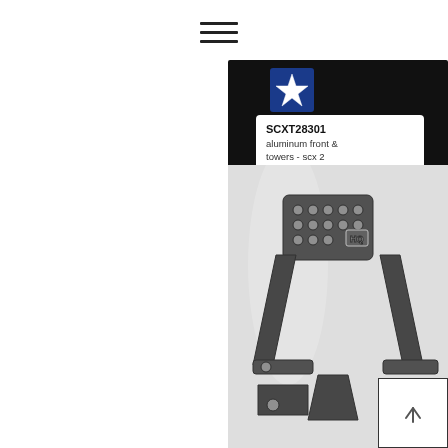[Figure (other): Hamburger menu icon with three horizontal lines]
[Figure (photo): Product packaging image showing SCXT28301 aluminum front shock towers for SCX 2, inside a clear plastic bag with a black header card displaying a star logo. The metal parts (aluminum front shock towers) are visible inside the bag. A scroll-to-top button with an up arrow is in the lower right corner.]